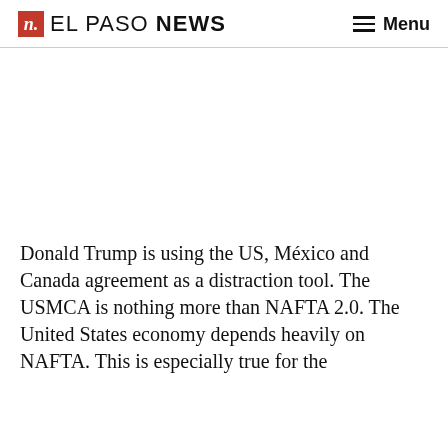n. EL PASO NEWS  ≡ Menu
[Figure (other): Advertisement placeholder area (blank white space)]
Donald Trump is using the US, México and Canada agreement as a distraction tool. The USMCA is nothing more than NAFTA 2.0. The United States economy depends heavily on NAFTA. This is especially true for the